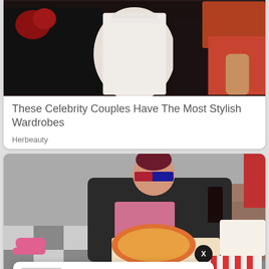[Figure (photo): Celebrity couple at formal event, person in black suit and person in white wedding dress]
These Celebrity Couples Have The Most Stylish Wardrobes
Herbeauty
[Figure (photo): Young woman wearing 3D glasses, leather jacket, eating pizza and holding a drink, lounging on a couch with checkered floor]
"I TRIED TO KILL MYSELF THREE TIMES"
1 day ago